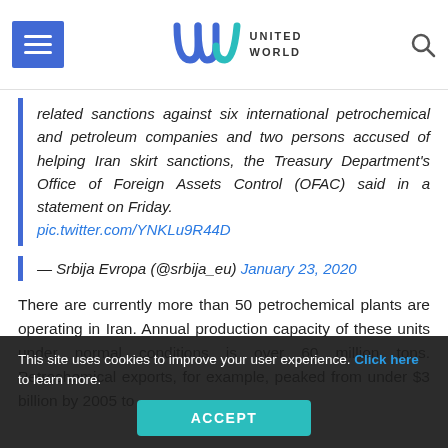UNITED WORLD
related sanctions against six international petrochemical and petroleum companies and two persons accused of helping Iran skirt sanctions, the Treasury Department's Office of Foreign Assets Control (OFAC) said in a statement on Friday. pic.twitter.com/YNKLu9R44D
— Srbija Evropa (@srbija_eu) January 23, 2020
There are currently more than 50 petrochemical plants are operating in Iran. Annual production capacity of these units under normal conditions is over 60 million tons. Petrochemical exports, for example, peaked from under $3 billion by 2005 to
This site uses cookies to improve your user experience. Click here to learn more. ACCEPT